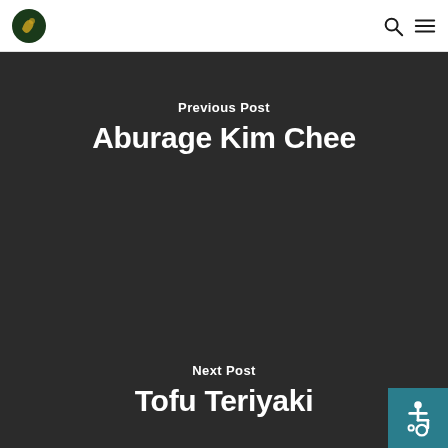Navigation header with logo, search, and menu icons
Previous Post
Aburage Kim Chee
Next Post
Tofu Teriyaki